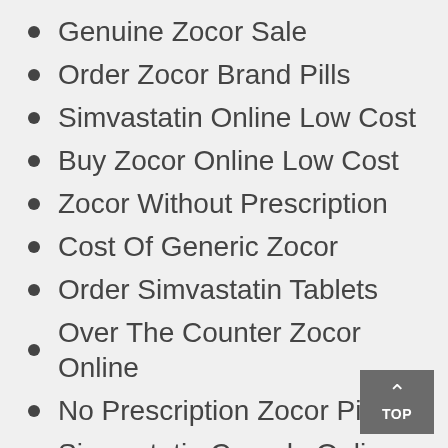Genuine Zocor Sale
Order Zocor Brand Pills
Simvastatin Online Low Cost
Buy Zocor Online Low Cost
Zocor Without Prescription
Cost Of Generic Zocor
Order Simvastatin Tablets
Over The Counter Zocor Online
No Prescription Zocor Pills
Simvastatin Canada Online Pharmacy
Achat Zocor Site Securise
Purchase Cheap Zocor Paris
Where Can I Buy Zocor Pills